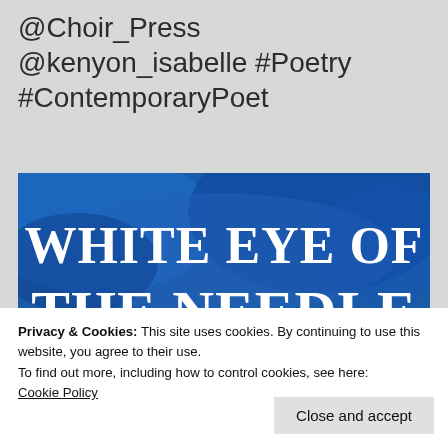@Choir_Press @kenyon_isabelle #Poetry #ContemporaryPoet
[Figure (illustration): Book cover for 'White Eye of the Needle' by Chris Campbell. Blue watercolor background with large white bold serif title text and author name in gold/yellow small caps.]
Privacy & Cookies: This site uses cookies. By continuing to use this website, you agree to their use.
To find out more, including how to control cookies, see here: Cookie Policy
Close and accept